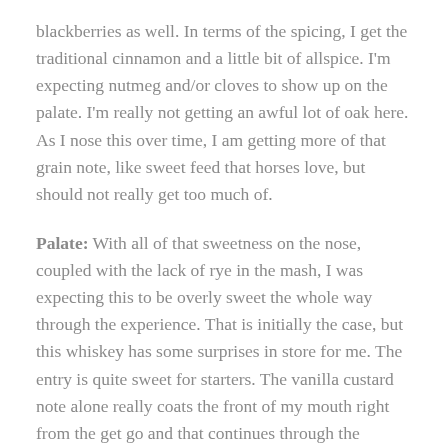blackberries as well. In terms of the spicing, I get the traditional cinnamon and a little bit of allspice. I'm expecting nutmeg and/or cloves to show up on the palate. I'm really not getting an awful lot of oak here. As I nose this over time, I am getting more of that grain note, like sweet feed that horses love, but should not really get too much of.
Palate: With all of that sweetness on the nose, coupled with the lack of rye in the mash, I was expecting this to be overly sweet the whole way through the experience. That is initially the case, but this whiskey has some surprises in store for me. The entry is quite sweet for starters. The vanilla custard note alone really coats the front of my mouth right from the get go and that continues through the development as well. Between the entry and the development, I get that Crunchie bar toffee note again mixed with red berries and peaches, this time slightly cooked down. What really surprises me is how spicy this